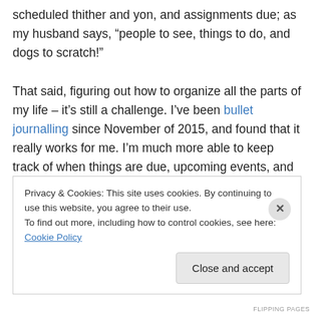scheduled thither and yon, and assignments due; as my husband says, “people to see, things to do, and dogs to scratch!”

That said, figuring out how to organize all the parts of my life – it’s still a challenge. I’ve been bullet journalling since November of 2015, and found that it really works for me. I’m much more able to keep track of when things are due, upcoming events, and even tracking how often I do x, y, or z, which can come in very handy when I’m, say, working on a goal to read more, or exercise more, or be a better h...
Privacy & Cookies: This site uses cookies. By continuing to use this website, you agree to their use.
To find out more, including how to control cookies, see here: Cookie Policy

Close and accept